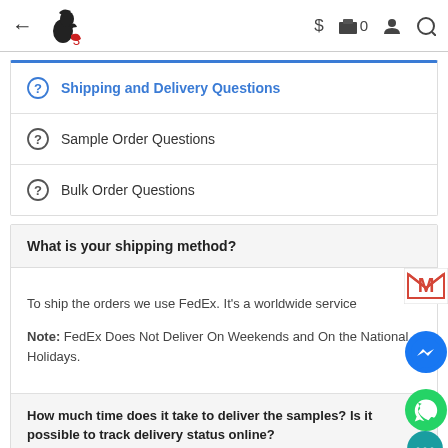← [Logo] $ [bag] 0 [user] [search]
Shipping and Delivery Questions
Sample Order Questions
Bulk Order Questions
What is your shipping method?
To ship the orders we use FedEx. It's a worldwide service

Note: FedEx Does Not Deliver On Weekends and On the National Holidays.
How much time does it take to deliver the samples? Is it possible to track delivery status online?